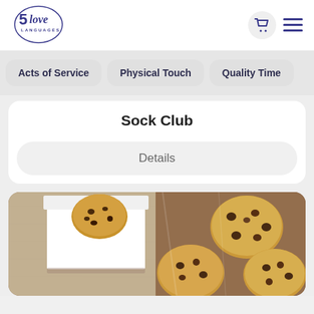[Figure (logo): 5 Love Languages logo in dark blue/purple, circular text with stylized script]
[Figure (illustration): Shopping cart icon and hamburger menu icon in dark blue/purple]
Acts of Service
Physical Touch
Quality Time
Sock Club
Details
[Figure (photo): Chocolate chip cookies in clear plastic bags and a white pastry box on a wooden surface]